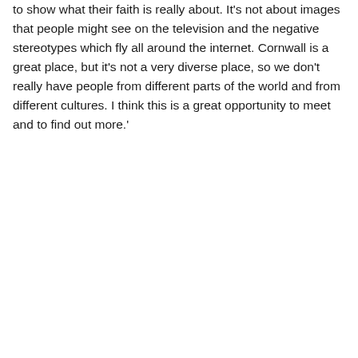to show what their faith is really about. It's not about images that people might see on the television and the negative stereotypes which fly all around the internet. Cornwall is a great place, but it's not a very diverse place, so we don't really have people from different parts of the world and from different cultures. I think this is a great opportunity to meet and to find out more.'